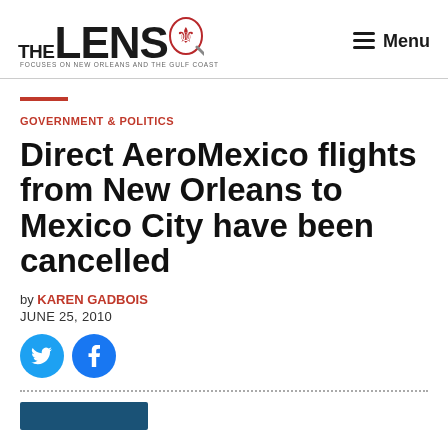THE LENS — FOCUSES ON NEW ORLEANS AND THE GULF COAST — Menu
GOVERNMENT & POLITICS
Direct AeroMexico flights from New Orleans to Mexico City have been cancelled
by KAREN GADBOIS
JUNE 25, 2010
[Figure (other): Social share buttons: Twitter and Facebook circular icons]
[Figure (photo): Article image placeholder - dark blue rectangle at bottom]